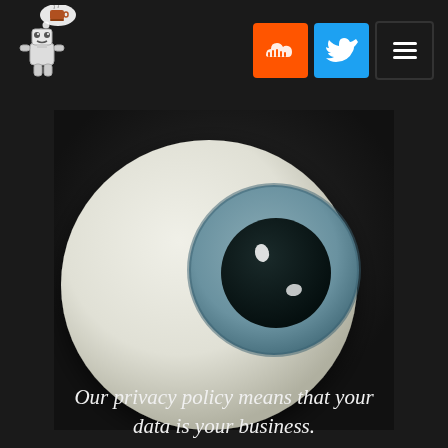[Figure (logo): Small robot character with a thought bubble containing a coffee cup icon, used as website logo]
[Figure (infographic): Navigation bar with SoundCloud (orange), Twitter (blue), and hamburger menu (dark) icon buttons]
[Figure (illustration): 3D rendered eyeball illustration with white sclera, blue-grey iris, dark pupil with two white highlights, on a dark background]
Our privacy policy means that your data is your business.